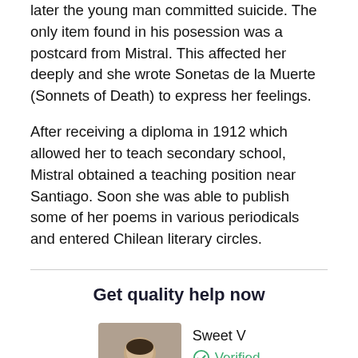later the young man committed suicide. The only item found in his posession was a postcard from Mistral. This affected her deeply and she wrote Sonetas de la Muerte (Sonnets of Death) to express her feelings.
After receiving a diploma in 1912 which allowed her to teach secondary school, Mistral obtained a teaching position near Santiago. Soon she was able to publish some of her poems in various periodicals and entered Chilean literary circles.
Get quality help now
[Figure (photo): Photo of a young man tutor named Sweet V, partially cropped, with dark hair, slightly blurred background]
Sweet V
Verified